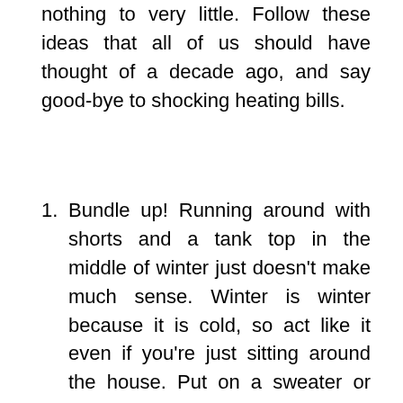nothing to very little. Follow these ideas that all of us should have thought of a decade ago, and say good-bye to shocking heating bills.
Bundle up! Running around with shorts and a tank top in the middle of winter just doesn't make much sense. Winter is winter because it is cold, so act like it even if you're just sitting around the house. Put on a sweater or sweatshirt, wear socks and fuzzy slippers. Place a soft, comfy blanket on the couch to cuddle up in while watching TV, reading or chatting with friends. Put throw rugs on hardwood